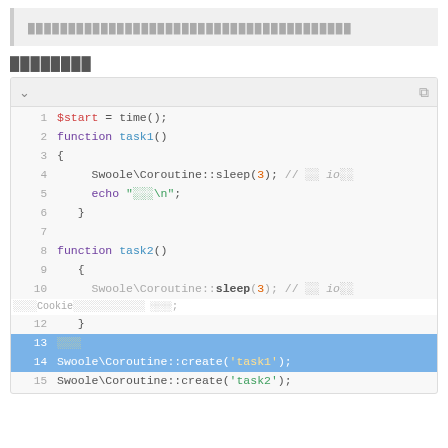████████████████████████████████████████
████████
[Figure (screenshot): PHP code editor screenshot showing a syntax-highlighted code block with line numbers 1-15. Code includes function definitions task1() and task2() using Swoole\Coroutine::sleep(3) and echo statements. Lines 13-14 are highlighted in blue showing Swoole\Coroutine::create calls.]